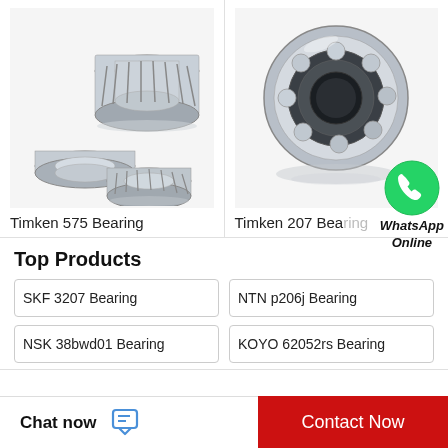[Figure (photo): Timken 575 tapered roller bearing components shown disassembled]
[Figure (photo): Timken 207 ball bearing shown in perspective view]
Timken 575 Bearing
Timken 207 Bearing
[Figure (illustration): WhatsApp Online button with green WhatsApp icon]
Top Products
SKF 3207 Bearing
NTN p206j Bearing
NSK 38bwd01 Bearing
KOYO 62052rs Bearing
Chat now  Contact Now